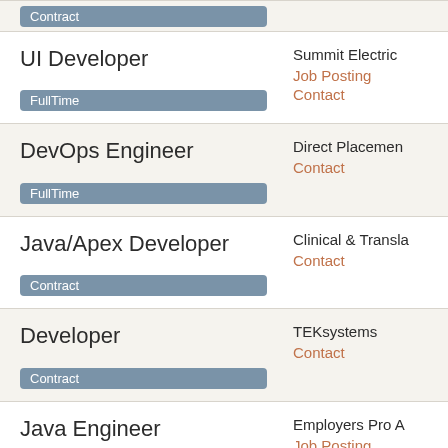Contract (badge, top partial card)
UI Developer | FullTime | Summit Electric | Job Posting | Contact
DevOps Engineer | FullTime | Direct Placement | Contact
Java/Apex Developer | Contract | Clinical & Translational | Contact
Developer | Contract | TEKsystems | Contact
Java Engineer | (partial) | Employers Pro A | Job Posting